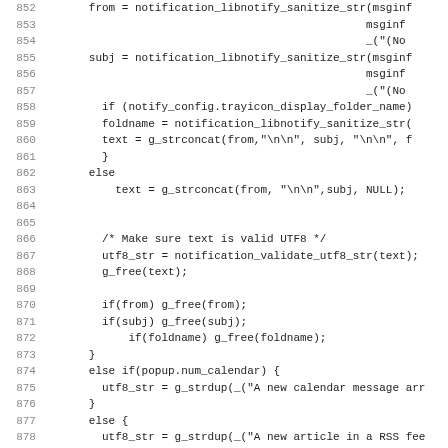[Figure (screenshot): Source code listing (C code) with line numbers 852–883, showing code for notification text construction using libnotify functions, UTF8 validation, and conditional branches for calendar and RSS feed messages.]